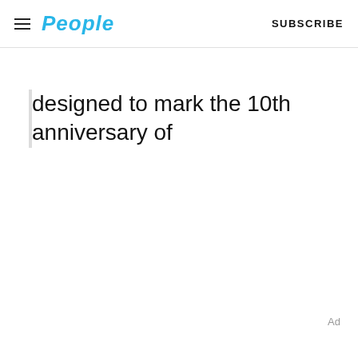People | SUBSCRIBE
designed to mark the 10th anniversary of
Ad